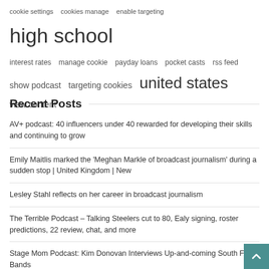cookie settings   cookies manage   enable targeting   high school   interest rates   manage cookie   payday loans   pocket casts   rss feed   show podcast   targeting cookies   united states   view content
Recent Posts
AV+ podcast: 40 influencers under 40 rewarded for developing their skills and continuing to grow
Emily Maitlis marked the 'Meghan Markle of broadcast journalism' during a sudden stop | United Kingdom | New
Lesley Stahl reflects on her career in broadcast journalism
The Terrible Podcast – Talking Steelers cut to 80, Ealy signing, roster predictions, 22 review, chat, and more
Stage Mom Podcast: Kim Donovan Interviews Up-and-coming South Fla… Bands